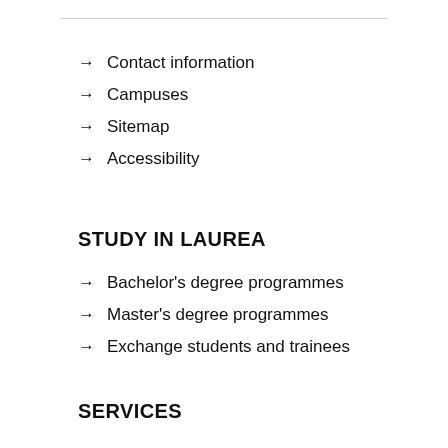→ Contact information
→ Campuses
→ Sitemap
→ Accessibility
STUDY IN LAUREA
→ Bachelor's degree programmes
→ Master's degree programmes
→ Exchange students and trainees
SERVICES